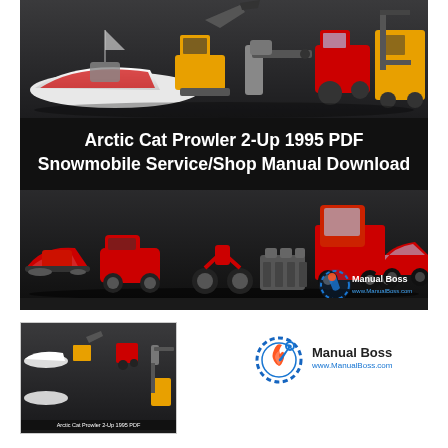[Figure (illustration): Main banner image showing various vehicles (boat, excavator, truck, chainsaw, tractor, forklift) on dark background at the top, Arctic Cat snowmobile service manual title text in white on black center band, and multiple vehicles (ATV, motorcycle, semi truck, car, engine, snowmobile) with Manual Boss branding logo at the bottom]
Arctic Cat Prowler 2-Up 1995 PDF Snowmobile Service/Shop Manual Download
[Figure (thumbnail): Thumbnail of the same banner image with various vehicles and equipment]
[Figure (logo): Manual Boss logo with wrench/gear icon and text ManualBoss www.ManualBoss.com]